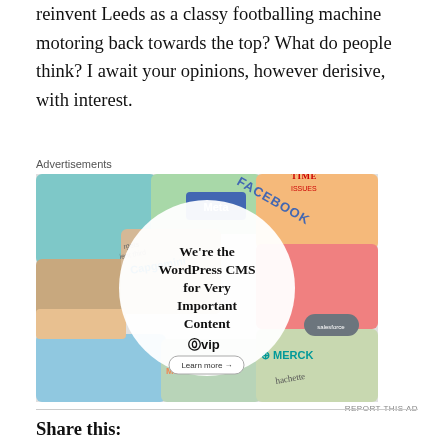reinvent Leeds as a classy footballing machine motoring back towards the top? What do people think? I await your opinions, however derisive, with interest.
[Figure (other): Advertisement image for WordPress VIP CMS service showing collage of brand logos (Meta, Facebook, Merck, Capgemini, Hachette) with a white circle overlay reading 'We're the WordPress CMS for Very Important Content' with WordPress VIP logo and 'Learn more' button.]
REPORT THIS AD
Share this: